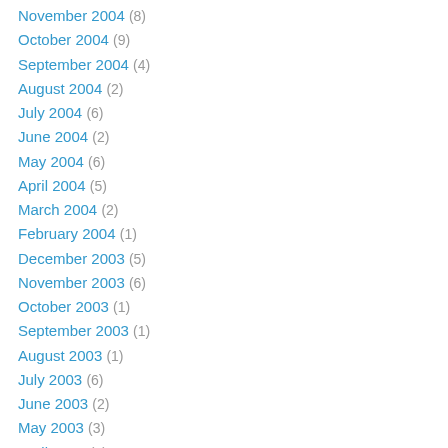November 2004 (8)
October 2004 (9)
September 2004 (4)
August 2004 (2)
July 2004 (6)
June 2004 (2)
May 2004 (6)
April 2004 (5)
March 2004 (2)
February 2004 (1)
December 2003 (5)
November 2003 (6)
October 2003 (1)
September 2003 (1)
August 2003 (1)
July 2003 (6)
June 2003 (2)
May 2003 (3)
April 2003 (1)
March 2003 (1)